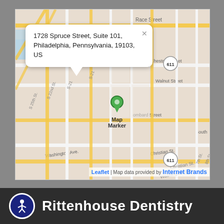[Figure (map): Street map of Philadelphia, PA centered near 1728 Spruce Street. Shows grid of streets including Race Street, Chestnut Street, Walnut Street, Lombard Street, South Street, Christian St., Washington Ave. Route 611 marked. Map marker visible near center. Popup callout shows address: 1728 Spruce Street, Suite 101, Philadelphia, Pennsylvania, 19103, US. Attribution: Leaflet | Map data provided by Internet Brands.]
1728 Spruce Street, Suite 101, Philadelphia, Pennsylvania, 19103, US
Rittenhouse Dentistry